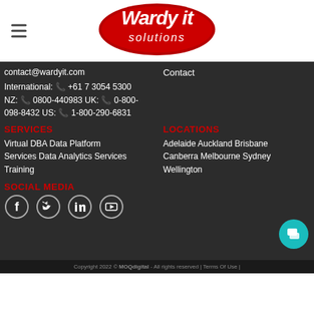[Figure (logo): Wardy IT Solutions logo: white italic 'Wardy it solutions' text on a red oval with TM mark]
contact@wardyit.com
Contact
International: 📞 +61 7 3054 5300
NZ: 📞 0800-440983 UK: 📞 0-800-098-8432 US: 📞 1-800-290-6831
SERVICES
LOCATIONS
Virtual DBA Data Platform Services Data Analytics Services Training
Adelaide Auckland Brisbane Canberra Melbourne Sydney Wellington
SOCIAL MEDIA
[Figure (illustration): Social media icons: Facebook, Twitter, LinkedIn, YouTube in circle outlines]
Copyright 2022 © MOQdigital - All rights reserved | Terms Of Use |